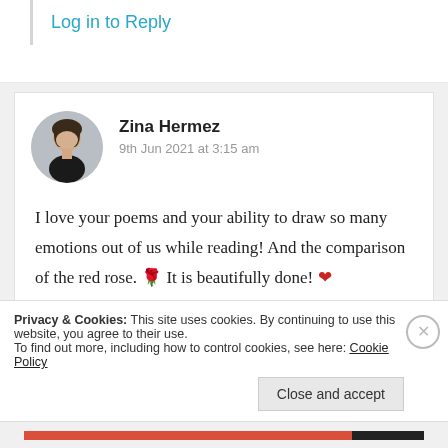Log in to Reply
Zina Hermez
9th Jun 2021 at 3:15 am
I love your poems and your ability to draw so many emotions out of us while reading! And the comparison of the red rose. 🌹 It is beautifully done! ❤️
Privacy & Cookies: This site uses cookies. By continuing to use this website, you agree to their use.
To find out more, including how to control cookies, see here: Cookie Policy
Close and accept